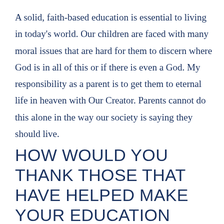A solid, faith-based education is essential to living in today's world. Our children are faced with many moral issues that are hard for them to discern where God is in all of this or if there is even a God. My responsibility as a parent is to get them to eternal life in heaven with Our Creator. Parents cannot do this alone in the way our society is saying they should live.
HOW WOULD YOU THANK THOSE THAT HAVE HELPED MAKE YOUR EDUCATION